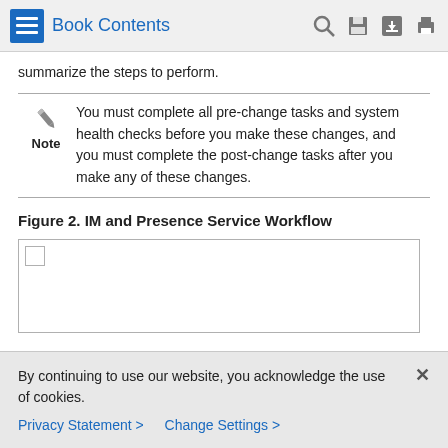Book Contents
summarize the steps to perform.
Note: You must complete all pre-change tasks and system health checks before you make these changes, and you must complete the post-change tasks after you make any of these changes.
Figure 2. IM and Presence Service Workflow
[Figure (other): Placeholder box for IM and Presence Service Workflow diagram with a small checkbox icon in the top-left corner.]
By continuing to use our website, you acknowledge the use of cookies.
Privacy Statement >   Change Settings >